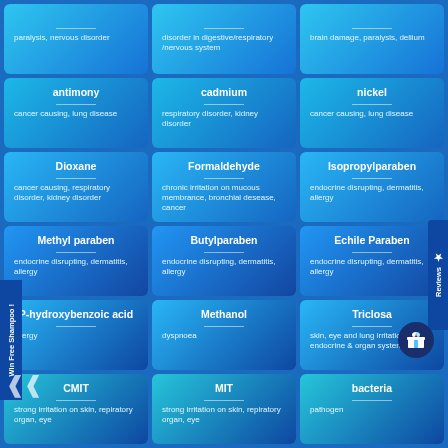[Figure (infographic): Grid of chemical/substance ingredient cards showing harmful ingredient names and their health effects. 6 rows x 3 columns of blue gradient cards. Row 1 (partial/cut off): unnamed substances - paralysis/nervous disorder, disorder in digestive/respiratory/nervous system, brain damage/paralysis/delirium. Row 2: antimony (cancer causing, lung disease), cadmium (respiratory disorder, kidney disorder), nickel (cancer causing, lung disease). Row 3: Dioxane (cancer causing, respiratory disorder, kidney disorder), Formaldehyde (chronic irritation on mucous membrance, bronchial desease, cancer), Isopropylparaben (endocrine disrupting, dermatitis, allergy). Row 4: Methyl paraben (endocrine disrupting, dermatitis, allergy), Butylparaben (endocrine disrupting, dermatitis, allergy), Echile Paraben (endocrine disrupting, dermatitis, allergy). Row 5: P-hydroxybenzoic acid (allergy), Methanol (dyspnoea), Triclosa[n] (skin, eye and lung irritation, endocrine & organ system toxicity). Row 6: CMIT (strong irritation on skin, repiratory organ, eye), MIT (strong irritation on skin, repiratory organ, eye), bacteria (pathogen). Side elements: 'Win Free Shampoo!' vertical label on left, 'Reviews' vertical tab on right with star, gift circle icon.]